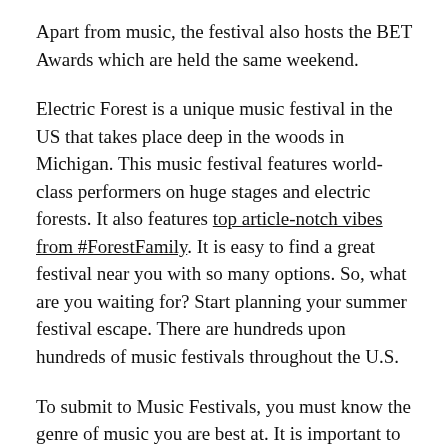Apart from music, the festival also hosts the BET Awards which are held the same weekend.
Electric Forest is a unique music festival in the US that takes place deep in the woods in Michigan. This music festival features world-class performers on huge stages and electric forests. It also features top article-notch vibes from #ForestFamily. It is easy to find a great festival near you with so many options. So, what are you waiting for? Start planning your summer festival escape. There are hundreds upon hundreds of music festivals throughout the U.S.
To submit to Music Festivals, you must know the genre of music you are best at. It is important to know what genre you fit into and how many previous festivals you have performed at. The Unsigned Guide is a great resource for music industry contacts. You can also attend festivals and